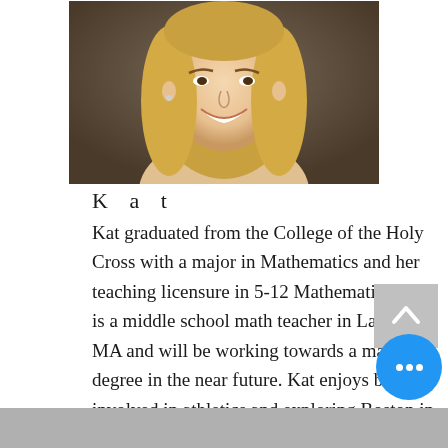[Figure (photo): Headshot portrait photo of a young woman with long blonde hair, smiling, against a neutral dark background.]
K a t
Kat graduated from the College of the Holy Cross with a major in Mathematics and her teaching licensure in 5-12 Mathematics. She is a middle school math teacher in Lawrence, MA and will be working towards a master's degree in the near future. Kat enjoys being involved in athletics and exploring Boston in her free time. She specializes in tutoring math, study skills, and test prep.